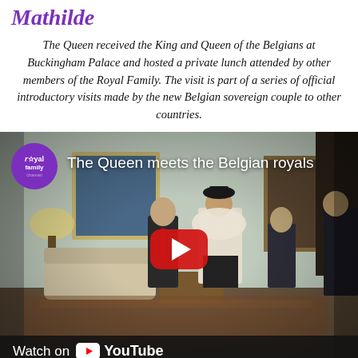Mathilde
The Queen received the King and Queen of the Belgians at Buckingham Palace and hosted a private lunch attended by other members of the Royal Family. The visit is part of a series of official introductory visits made by the new Belgian sovereign couple to other countries.
[Figure (screenshot): YouTube video thumbnail showing 'The Queen meets the Belgian royals' on the Royal Family Channel. The video shows people in formal attire in an ornate room at Buckingham Palace. A large red YouTube play button is overlaid in the center. A 'Watch on YouTube' bar appears at the bottom.]